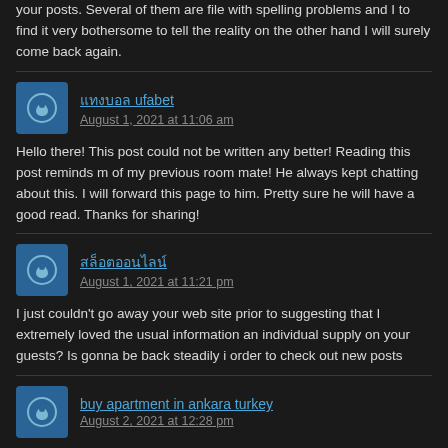your posts. Several of them are file with spelling problems and I to find it very bothersome to tell the reality on the other hand I will surely come back again.
แทงบอล ufabet
August 1, 2021 at 11:06 am
Hello there! This post could not be written any better! Reading this post reminds me of my previous room mate! He always kept chatting about this. I will forward this page to him. Pretty sure he will have a good read. Thanks for sharing!
สล็อตออนไลน์
August 1, 2021 at 11:21 pm
I just couldn't go away your web site prior to suggesting that I extremely loved the usual information an individual supply on your guests? Is gonna be back steadily in order to check out new posts
buy apartment in ankara turkey
August 2, 2021 at 12:28 pm
you're truly a just right webmaster. The site loading pace is amazing. It seems that you are doing any unique trick. Furthermore, The contents are masterpiece, you'v